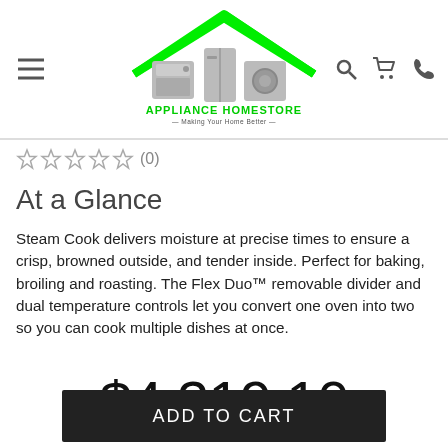[Figure (logo): Appliance Homestore logo with green house outline, gray appliances, green text APPLIANCE HOMESTORE, tagline Making Your Home Better]
(0)
At a Glance
Steam Cook delivers moisture at precise times to ensure a crisp, browned outside, and tender inside. Perfect for baking, broiling and roasting. The Flex Duo™ removable divider and dual temperature controls let you convert one oven into two so you can cook multiple dishes at once.
$4,319.10
ADD TO CART